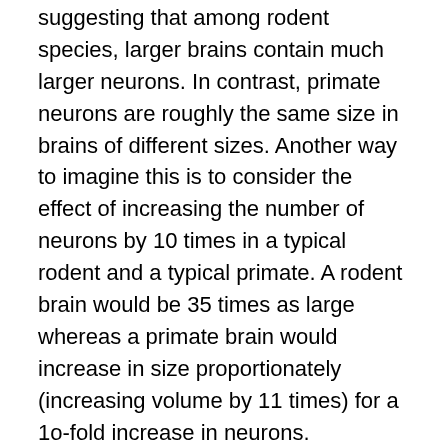suggesting that among rodent species, larger brains contain much larger neurons. In contrast, primate neurons are roughly the same size in brains of different sizes. Another way to imagine this is to consider the effect of increasing the number of neurons by 10 times in a typical rodent and a typical primate. A rodent brain would be 35 times as large whereas a primate brain would increase in size proportionately (increasing volume by 11 times) for a 1o-fold increase in neurons.
Herculano-Houzel and colleagues advance the idea that primate scaling is perfect for packing in lots more neurons without making the brain humongous. The rodent brain is far less economical. To illustrate this, a rodent with a 1.5 kg (about 3 pounds) brain would have 1/7th the number of neurons that humans have. Conversely, a rodent with 86 billion neurons (as is found in human brains) would need